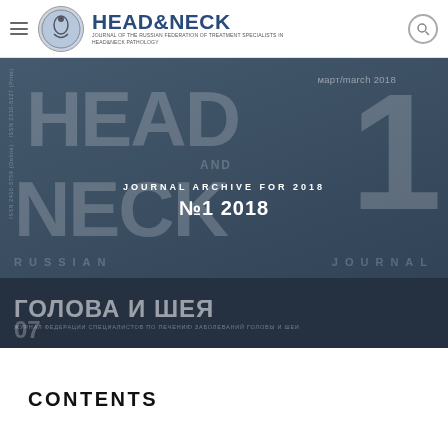HEAD&NECK — JOURNAL OF THE RUSSIAN FEDERATION OF TREATMENT SPECIALISTS IN HEAD&NECK PATHOLOGY
[Figure (screenshot): Journal archive page showing HEAD & NECK Russian Journal magazine cover for №1 2018, March. Dark navy/slate blue cover with large typographic HEAD and NECK text, the number 1, Cyrillic text ГОЛОВА И ШЕЯ, and overlay text reading JOURNAL ARCHIVE FOR 2018 / №1 2018. Page number 07 visible at bottom.]
CONTENTS